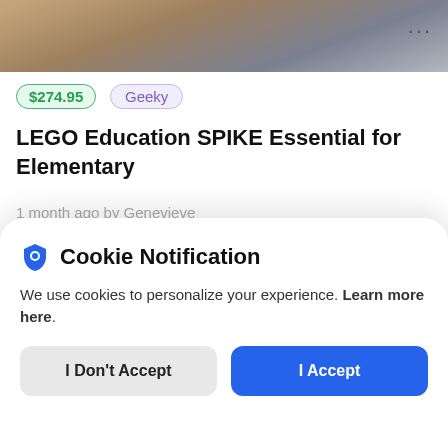[Figure (photo): Top portion of a product listing page showing a blurred food/wood image background with three-dot menu icon in top right]
$274.95
Geeky
LEGO Education SPIKE Essential for Elementary
1 month ago by Genevieve
[Figure (photo): Product image area with blurred indoor/shelf background and a shopping cart icon circle overlay on left]
Cookie Notification
We use cookies to personalize your experience. Learn more here.
I Don't Accept
I Accept